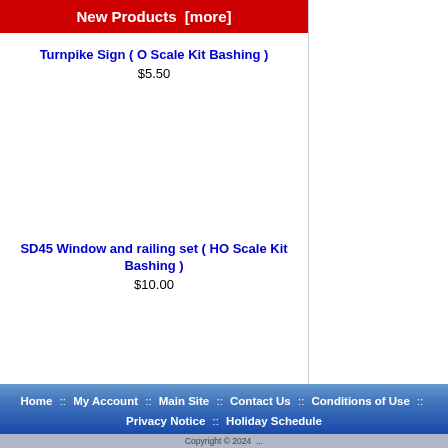New Products  [more]
Turnpike Sign ( O Scale Kit Bashing )
$5.50
SD45 Window and railing set ( HO Scale Kit Bashing )
$10.00
Truck Frame-Gray-Old Generation (HO Universal - Diesel)
$4.76
Boiler Saddle (New) HO 0-6-0/2-6-0
$3.67
Home :: My Account :: Main Site :: Contact Us :: Conditions of Use :: Privacy Notice :: Holiday Schedule